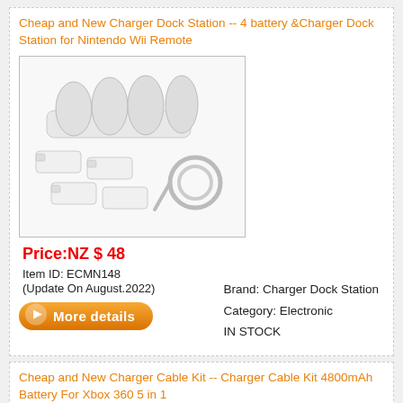Cheap and New Charger Dock Station -- 4 battery &Charger Dock Station for Nintendo Wii Remote
[Figure (photo): Photo of a white Nintendo Wii Remote charger dock station with 4 battery packs and a USB cable, laid out on a white background.]
Price:NZ $ 48
Item ID: ECMN148
(Update On August.2022)
[Figure (other): Orange 'More details' button with a small icon on the left.]
Brand: Charger Dock Station
Category: Electronic
IN STOCK
Cheap and New Charger Cable Kit -- Charger Cable Kit 4800mAh Battery For Xbox 360 5 in 1
[Figure (photo): Partial photo of a black Charger Cable Kit for Xbox 360.]